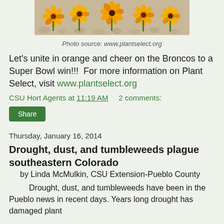[Figure (photo): Row of orange/yellow flowers (gaillardia-style) on a gravel background, centered at top of page]
Photo source: www.plantselect.org
Let's unite in orange and cheer on the Broncos to a Super Bowl win!!!  For more information on Plant Select, visit www.plantselect.org
CSU Hort Agents at 11:19 AM     2 comments:
Share
Thursday, January 16, 2014
Drought, dust, and tumbleweeds plague southeastern Colorado
by Linda McMulkin, CSU Extension-Pueblo County
Drought, dust, and tumbleweeds have been in the Pueblo news in recent days. Years long drought has damaged plant